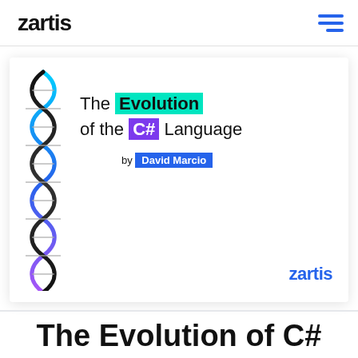zartis
[Figure (illustration): DNA double helix illustration with blue, cyan, purple, and black strands on left side of cover card]
The Evolution of the C# Language
by David Marcio
zartis
The Evolution of C# Language